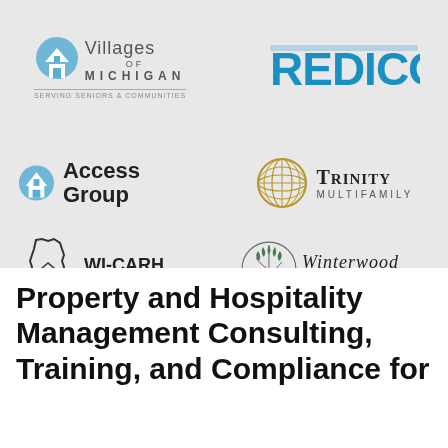[Figure (logo): Villages of Michigan - Serving Seniors & Communities logo with blue building icon]
[Figure (logo): REDICO logo in blue bold stylized text]
[Figure (logo): Access Group logo with blue icon and bold black text]
[Figure (logo): Trinity Multifamily logo with gold globe icon]
[Figure (logo): WI-CARH Wisconsin Council for Affordable & Rural Housing logo]
[Figure (logo): Winterwood Property Management logo with circular branch design]
Property and Hospitality Management Consulting, Training, and Compliance for